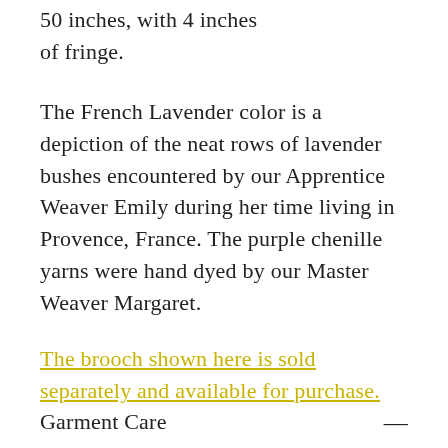50 inches, with 4 inches of fringe.
The French Lavender color is a depiction of the neat rows of lavender bushes encountered by our Apprentice Weaver Emily during her time living in Provence, France. The purple chenille yarns were hand dyed by our Master Weaver Margaret.
The brooch shown here is sold separately and available for purchase.
Garment Care —